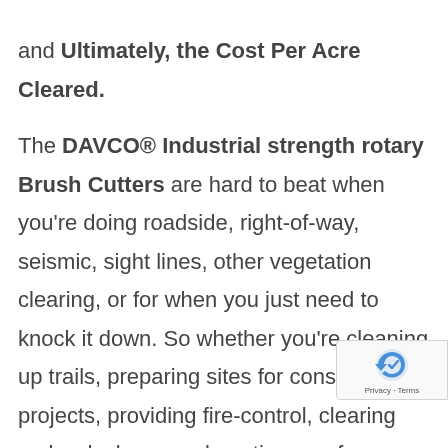and Ultimately, the Cost Per Acre Cleared.

The DAVCO® Industrial strength rotary Brush Cutters are hard to beat when you're doing roadside, right-of-way, seismic, sight lines, other vegetation clearing, or for when you just need to knock it down. So whether you're cleaning up trails, preparing sites for construction projects, providing fire-control, clearing orchards, lease reclamations, or fence line maintenance, by combining a Track Loader or Skid Steer with ranges from 21-30 GPM the DAVCO® Industrial strength rotary Mulcher/Brush cutter you have made the best Choice with